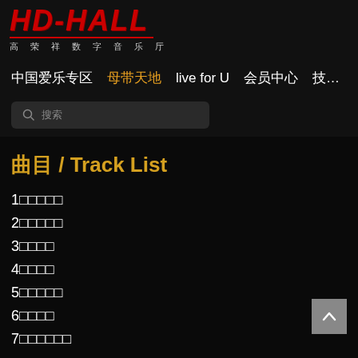[Figure (logo): HD-HALL logo in red bold italic text with Chinese subtitle 高荣祥数字音乐厅]
中国爱乐专区　母带天地　live for U　会员中心　技…
🔍 搜索
曲目 / Track List
1 曲目名称一
2 曲目名称二
3 曲目名称
4 曲目名称
5 曲目名称一
6 曲目名称
7 曲目名称一